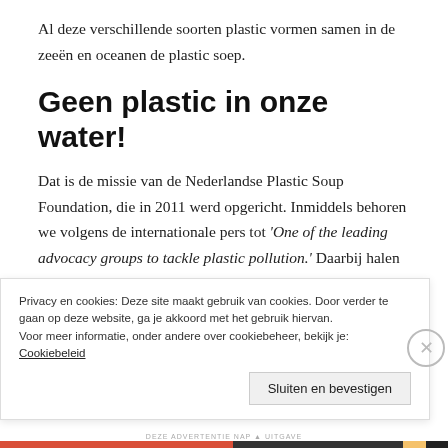Al deze verschillende soorten plastic vormen samen in de zeeën en oceanen de plastic soep.
Geen plastic in onze water!
Dat is de missie van de Nederlandse Plastic Soup Foundation, die in 2011 werd opgericht. Inmiddels behoren we volgens de internationale pers tot 'One of the leading advocacy groups to tackle plastic pollution.' Daarbij halen we geen plastic uit het water. We
Privacy en cookies: Deze site maakt gebruik van cookies. Door verder te gaan op deze website, ga je akkoord met het gebruik hiervan.
Voor meer informatie, onder andere over cookiebeheer, bekijk je:
Cookiebeleid
Sluiten en bevestigen